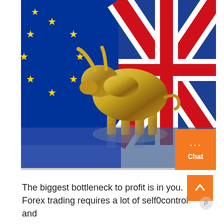[Figure (photo): A golden metallic bull figurine standing in front of a composite background showing the EU flag (blue with yellow stars) on the left and the UK Union Jack flag (red, white, blue) on the right. The bull is reflected on a shiny surface below. An orange chat bubble button with '...' and 'Chat' text appears in the lower right of the image.]
The biggest bottleneck to profit is in you. Forex trading requires a lot of self0control and